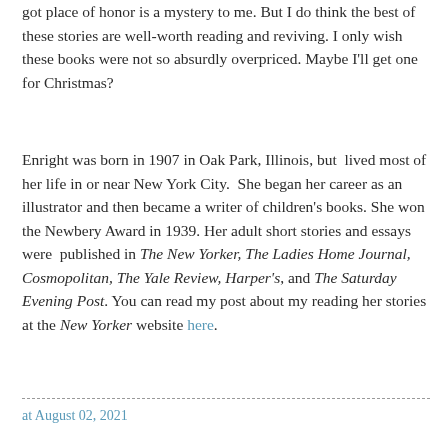got place of honor is a mystery to me.  But I do think the best of these stories are well-worth reading and reviving.  I only wish these books were not so absurdly overpriced. Maybe I'll get one for Christmas?
Enright was born in 1907 in Oak Park, Illinois, but  lived most of her life in or near New York City.  She began her career as an  illustrator and then became a writer of children's books. She won the Newbery Award in 1939. Her adult short stories and essays were  published in The New Yorker, The Ladies Home Journal, Cosmopolitan, The Yale Review, Harper's, and The Saturday Evening Post. You can read my post about my reading her stories at the New Yorker website here.
at August 02, 2021